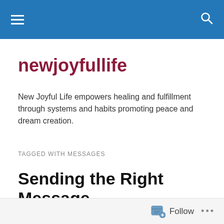newjoyfullife navigation bar
newjoyfullife
New Joyful Life empowers healing and fulfillment through systems and habits promoting peace and dream creation.
TAGGED WITH MESSAGES
Sending the Right Message
[Figure (photo): Black and white photo showing the tops of two people's heads among foliage/leaves]
Follow ...